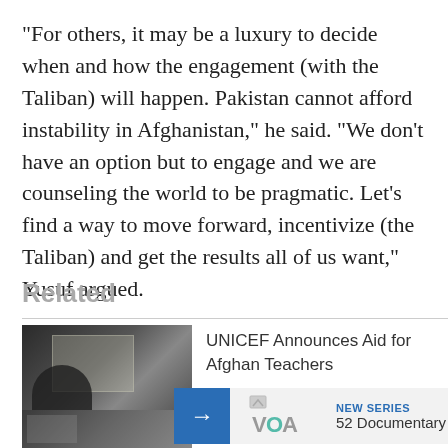"For others, it may be a luxury to decide when and how the engagement (with the Taliban) will happen. Pakistan cannot afford instability in Afghanistan," he said. "We don't have an option but to engage and we are counseling the world to be pragmatic. Let's find a way to move forward, incentivize (the Taliban) and get the results all of us want," Yusuf argued.
Related
[Figure (photo): A dark silhouette of a person in a room with a window, other figures in background]
UNICEF Announces Aid for Afghan Teachers
[Figure (logo): VOA logo with arrow navigation button]
NEW SERIES
52 Documentary
[Figure (photo): Partially visible thumbnail image at bottom of page]